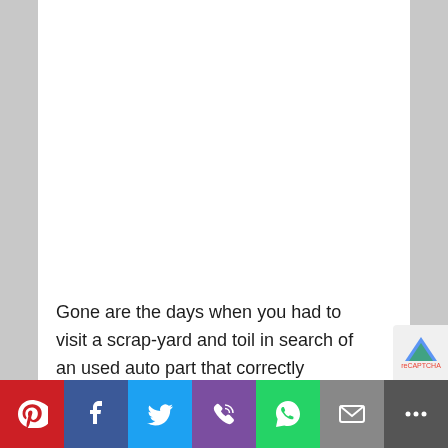Gone are the days when you had to visit a scrap-yard and toil in search of an used auto part that correctly matches your need. Right now it is possible to get vehicle components for many years, makes and models without even breaking a sweat. Commonly, flood damaged cars , SUVs and pickups are placed in salvage yards. Some